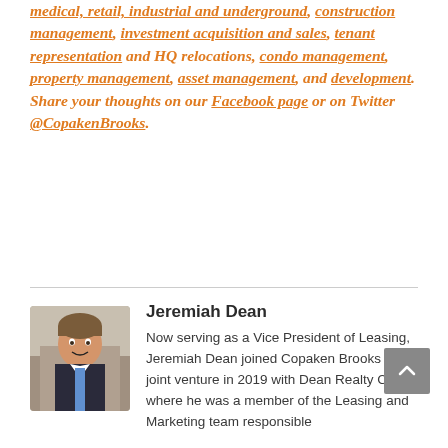medical, retail, industrial and underground, construction management, investment acquisition and sales, tenant representation and HQ relocations, condo management, property management, asset management, and development. Share your thoughts on our Facebook page or on Twitter @CopakenBrooks.
Jeremiah Dean
Now serving as a Vice President of Leasing, Jeremiah Dean joined Copaken Brooks after a joint venture in 2019 with Dean Realty Co., where he was a member of the Leasing and Marketing team responsible